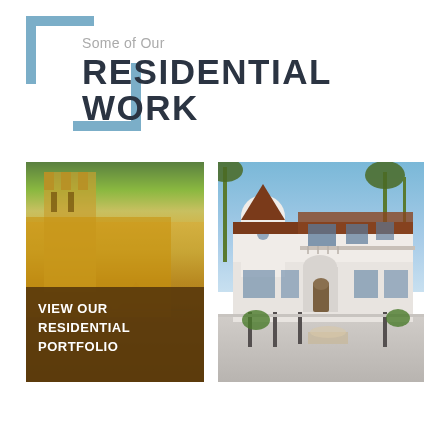Some of Our RESIDENTIAL WORK
[Figure (photo): Left: Close-up of a warm amber/golden stucco building exterior with palm fronds, overlaid with a brown semi-transparent box containing text 'VIEW OUR RESIDENTIAL PORTFOLIO'. Right: A white Spanish Mediterranean-style residential house with terracotta tile roof, round tower, balcony, arched entry, and palm trees in a sunny blue-sky setting.]